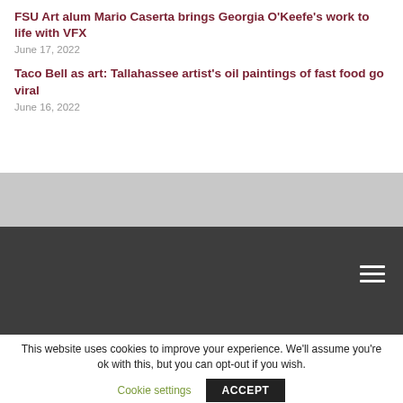FSU Art alum Mario Caserta brings Georgia O'Keefe's work to life with VFX
June 17, 2022
Taco Bell as art: Tallahassee artist's oil paintings of fast food go viral
June 16, 2022
[Figure (other): Gray band and dark navigation bar with hamburger menu icon]
This website uses cookies to improve your experience. We'll assume you're ok with this, but you can opt-out if you wish.
Cookie settings  ACCEPT